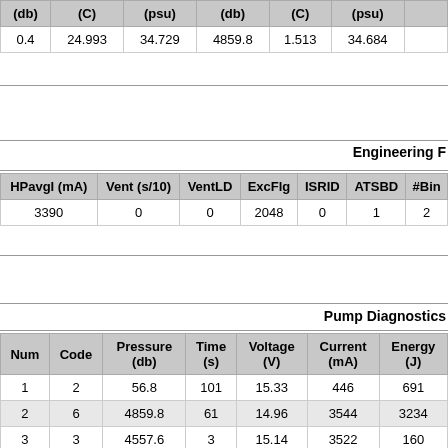| (db) | (C) | (psu) | (db) | (C) | (psu) | ... |
| --- | --- | --- | --- | --- | --- | --- |
| 0.4 | 24.993 | 34.729 | 4859.8 | 1.513 | 34.684 | ... |
Engineering F...
| HPavgI (mA) | Vent (s/10) | VentLD | ExcFlg | ISRID | ATSBD | #Bin... |
| --- | --- | --- | --- | --- | --- | --- |
| 3390 | 0 | 0 | 2048 | 0 | 1 | 2... |
Pump Diagnostics...
| Num | Code | Pressure (db) | Time (s) | Voltage (V) | Current (mA) | Energy (J) |
| --- | --- | --- | --- | --- | --- | --- |
| 1 | 2 | 56.8 | 101 | 15.33 | 446 | 691 |
| 2 | 6 | 4859.8 | 61 | 14.96 | 3544 | 3234 |
| 3 | 3 | 4557.6 | 3 | 15.14 | 3522 | 160 |
| 4 | 7 | 4601.7 | 80 | 15.06 | 3390 | 4084 |
| 5 | 13 | 3685 | 40 | 15.1 | 2862 | 1729 |
| 6 | 13 | 2945.4 | 40 | 15.15 | 2421 | 1467 |